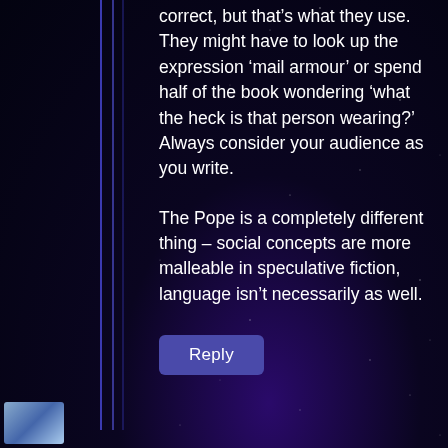correct, but that’s what they use. They might have to look up the expression ‘mail armour’ or spend half of the book wondering ‘what the heck is that person wearing?’ Always consider your audience as you write.
The Pope is a completely different thing – social concepts are more malleable in speculative fiction, language isn’t necessarily as well.
Reply